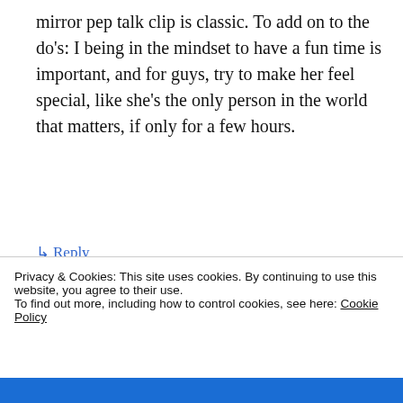mirror pep talk clip is classic. To add on to the do's: I being in the mindset to have a fun time is important, and for guys, try to make her feel special, like she's the only person in the world that matters, if only for a few hours.
↳ Reply
Patrick on March 22, 2013 at 12:00 pm
*I think
Privacy & Cookies: This site uses cookies. By continuing to use this website, you agree to their use.
To find out more, including how to control cookies, see here: Cookie Policy
Close and accept